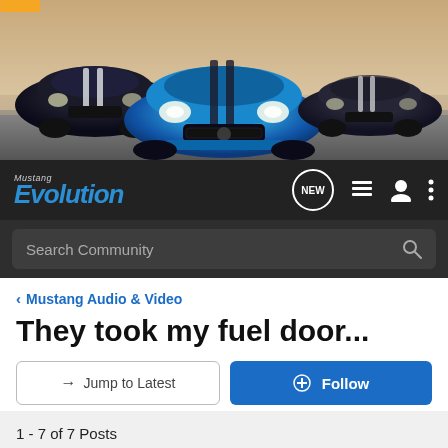[Figure (photo): Banner photo showing three Mustang Shelby GT500 cars on a road — a black one on the left, a blue one in the center, and a dark one on the right.]
Mustang Evolution — NEW — (nav icons)
Search Community
< Mustang Audio & Video
They took my fuel door...
→ Jump to Latest
+ Follow
1 - 7 of 7 Posts
Laser02 · Registered
Joined Jul 27, 2003 · 546 Posts